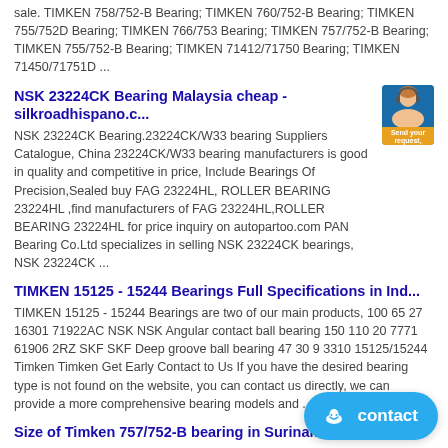sale. TIMKEN 758/752-B Bearing; TIMKEN 760/752-B Bearing; TIMKEN 755/752D Bearing; TIMKEN 766/753 Bearing; TIMKEN 757/752-B Bearing; TIMKEN 755/752-B Bearing; TIMKEN 71412/71750 Bearing; TIMKEN 71450/71751D ...
NSK 23224CK Bearing Malaysia cheap - silkroadhispano.c...
NSK 23224CK Bearing.23224CK/W33 bearing Suppliers Catalogue, China 23224CK/W33 bearing manufacturers is good in quality and competitive in price, Include Bearings Of Precision,Sealed buy FAG 23224HL, ROLLER BEARING 23224HL ,find manufacturers of FAG 23224HL,ROLLER BEARING 23224HL for price inquiry on autopartoo.com PAN Bearing Co.Ltd specializes in selling NSK 23224CK bearings, NSK 23224CK ...
TIMKEN 15125 - 15244 Bearings Full Specifications in Ind...
TIMKEN 15125 - 15244 Bearings are two of our main products, 100 65 27 16301 71922AC NSK NSK Angular contact ball bearing 150 110 20 7771 61906 2RZ SKF SKF Deep groove ball bearing 47 30 9 3310 15125/15244 Timken Timken Get Early Contact to Us If you have the desired bearing type is not found on the website, you can contact us directly, we can provide a more comprehensive bearing models and ...
Size of Timken 757/752-B bearing in Suriname...
Size of Timken 757/752-B bearing in Suriname are widely used in